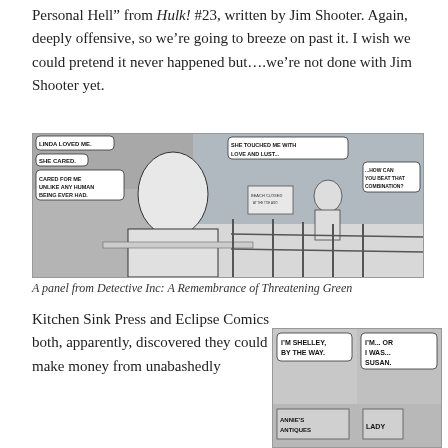Personal Hell” from Hulk! #23, written by Jim Shooter. Again, deeply offensive, so we’re going to breeze on past it. I wish we could pretend it never happened but….we’re not done with Jim Shooter yet.
[Figure (illustration): A comic panel showing a woman sitting at a table in the foreground with speech bubbles reading 'LINDA LOVED ME.', 'SHE CARED.', 'CARED FOR ME UNLIKE ANY HUMAN BEING EVER HAD.' and in background another figure near a 'BEACH CLOSED' sign with bubbles 'SHE TOUCHED ME WITH LOVE AND LUST...' and '...HOW CAN YOU BEAT THAT COMBINATION?']
A panel from Detective Inc: A Remembrance of Threatening Green
Kitchen Sink Press and Eclipse Comics both, apparently, discovered they could make money from unabashedly
[Figure (illustration): A comic panel with speech bubbles reading 'I’M SHELLEY, BY THE WAY.' and 'I’M... OR I WAS... SUSAN.' with storefronts visible including 'ANNIE’S ANTIQUES' and 'LADY']